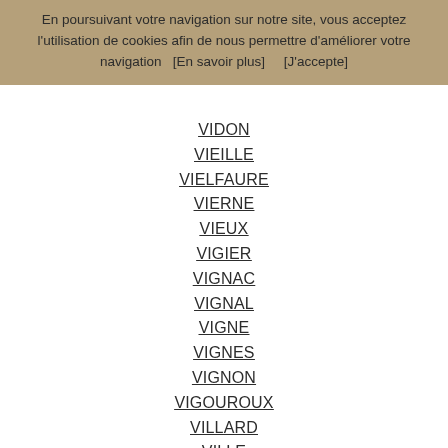En poursuivant votre navigation sur notre site, vous acceptez l'utilisation de cookies afin de nous permettre d'améliorer votre navigation   [En savoir plus]       [J'accepte]
VIDON
VIEILLE
VIELFAURE
VIERNE
VIEUX
VIGIER
VIGNAC
VIGNAL
VIGNE
VIGNES
VIGNON
VIGOUROUX
VILLARD
VILLE
VILLEDIEU
VILLERON
VILLES
VILLESECHE
VINARD
VINCENT
VINSON
VINTENON